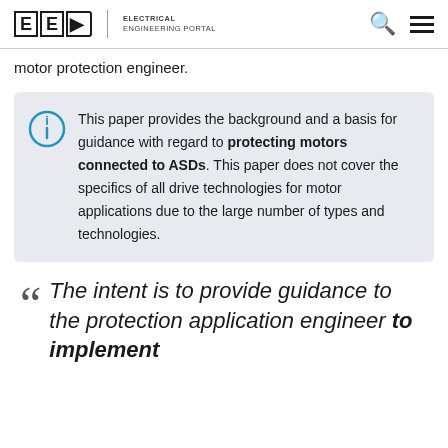EEP | ELECTRICAL ENGINEERING PORTAL
motor protection engineer.
This paper provides the background and a basis for guidance with regard to protecting motors connected to ASDs. This paper does not cover the specifics of all drive technologies for motor applications due to the large number of types and technologies.
The intent is to provide guidance to the protection application engineer to implement